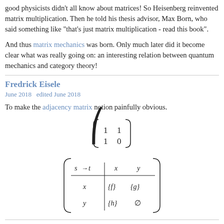good physicists didn't all know about matrices! So Heisenberg reinvented matrix multiplication. Then he told his thesis advisor, Max Born, who said something like "that's just matrix multiplication - read this book".
And thus matrix mechanics was born. Only much later did it become clear what was really going on: an interesting relation between quantum mechanics and category theory!
Fredrick Eisele — June 2018   edited June 2018
To make the adjacency matrix notion painfully obvious.
« 1 2 »
Sign In or Register to comment.